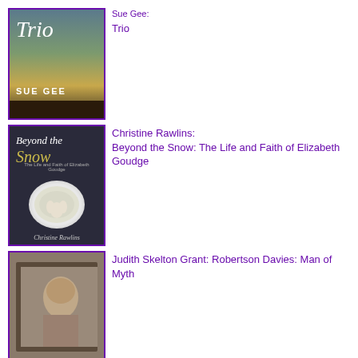[Figure (photo): Book cover of Trio by Sue Gee – teal/green sky background with tree and piano keys]
Sue Gee: Trio
[Figure (photo): Book cover of Beyond the Snow: The Life and Faith of Elizabeth Goudge by Christine Rawlins – dark background with floral oval inset]
Christine Rawlins: Beyond the Snow: The Life and Faith of Elizabeth Goudge
[Figure (photo): Book cover of Robertson Davies: Man of Myth by Judith Skelton Grant – a book lying flat with a portrait on the cover]
Judith Skelton Grant: Robertson Davies: Man of Myth